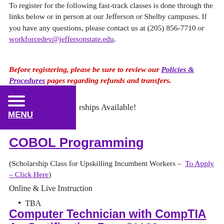To register for the following fast-track classes is done through the links below or in person at our Jefferson or Shelby campuses. If you have any questions, please contact us at (205) 856-7710 or workforcedev@jeffersonstate.edu.
Before registering, please be sure to review our Policies & Procedures pages regarding refunds and transfers.
[Figure (other): Purple navigation menu bar with hamburger icon and MENU label]
...rships Available!
COBOL Programming
(Scholarship Class for Upskilling Incumbent Workers – To Apply – Click Here)
Online & Live Instruction
TBA
Computer Technician with CompTIA A+ Certification Prep $1199